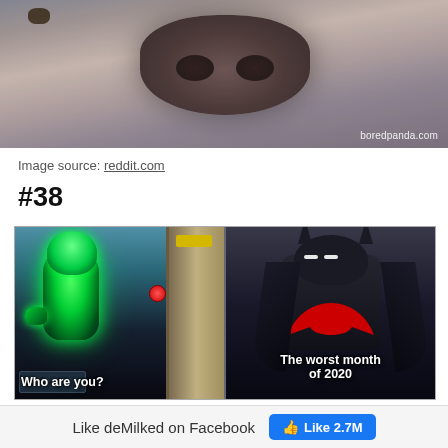[Figure (photo): Close-up photo of an animal's nose (dog or cat), watermarked with boredpanda.com]
Image source: reddit.com
#38
[Figure (illustration): Two-panel meme. Left panel: animated glowing green villain character with caption 'Who are you?'. Right panel: Batman Beyond style dark Batman figure with caption 'The worst month of 2020'.]
Like deMilked on Facebook   Like 2.7M